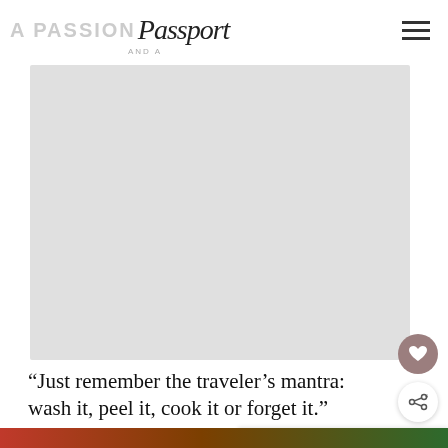A PASSION AND A Passport
[Figure (photo): Light gray placeholder image area representing a travel blog photo]
“Just remember the traveler’s mantra: wash it, peel it, cook it or forget it.”
WHAT’S NEXT → 16 Exciting Things to do...
[Figure (photo): Bottom image strip showing colorful travel scene]